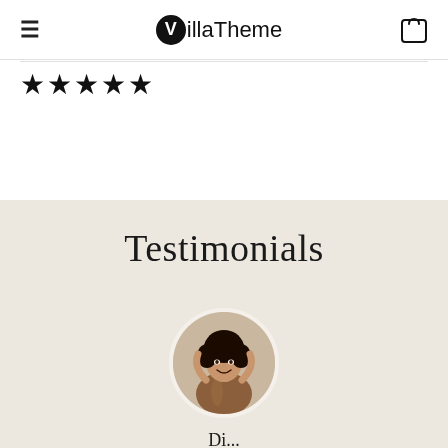VillaTheme
[Figure (illustration): Five filled black star icons representing a 5-star rating]
Testimonials
[Figure (photo): Circular portrait photo of a smiling woman with curly hair wearing a brown dress, arms raised]
Di...t i l i ff (partial text cut off at bottom)